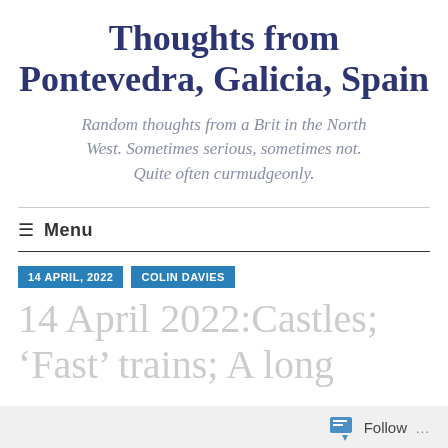Thoughts from Pontevedra, Galicia, Spain
Random thoughts from a Brit in the North West. Sometimes serious, sometimes not. Quite often curmudgeonly.
≡ Menu
14 APRIL, 2022   COLIN DAVIES
14 April 2022:Castles; 'Fast' trains; A long